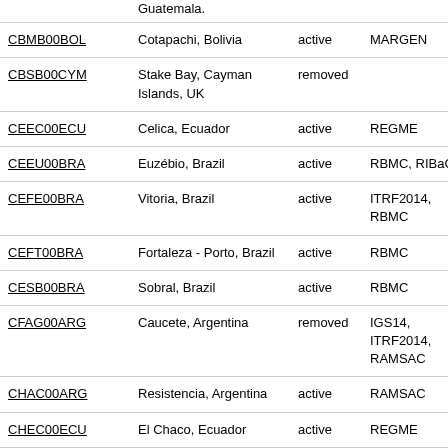| Code | Location | Status | Networks | Agency |
| --- | --- | --- | --- | --- |
| CBMB00BOL | Cotapachi, Bolivia | active | MARGEN | IGM |
| CBSB00CYM | Stake Bay, Cayman Islands, UK | removed |  | CIG |
| CEEC00ECU | Celica, Ecuador | active | REGME | IGM |
| CEEU00BRA | Euzébio, Brazil | active | RBMC, RIBaC | IBG |
| CEFE00BRA | Vitoria, Brazil | active | ITRF2014, RBMC | IBG |
| CEFT00BRA | Fortaleza - Porto, Brazil | active | RBMC | IBG |
| CESB00BRA | Sobral, Brazil | active | RBMC | IBG |
| CFAG00ARG | Caucete, Argentina | removed | IGS14, ITRF2014, RAMSAC | CEF |
| CHAC00ARG | Resistencia, Argentina | active | RAMSAC | APA |
| CHEC00ECU | El Chaco, Ecuador | active | REGME | IGM |
| CHEP00PAN | Chepo, Panama | active | Panama-CORS | IGN |
| CHET00MEX | Chetumal, Mexico | active | ITRF2014, RGNA | INE |